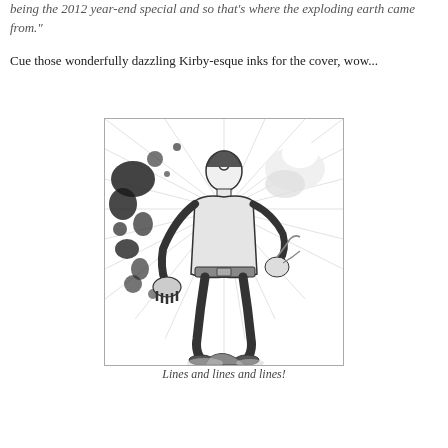being the 2012 year-end special and so that's where the exploding earth came from."
Cue those wonderfully dazzling Kirby-esque inks for the cover, wow...
[Figure (illustration): Black and white comic book style illustration showing a muscular superhero figure with a circular emblem on forehead, surrounded by dynamic Kirby-esque energy lines and explosions, in an action pose with one arm extended]
Lines and lines and lines!